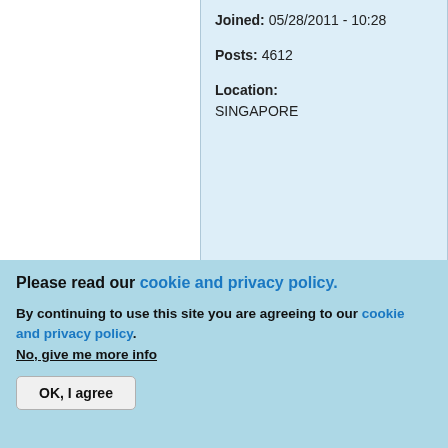Joined: 05/28/2011 - 10:28
Posts: 4612
Location: SINGAPORE
[Figure (screenshot): Top navigation button labeled 'Top' with an upward arrow icon, styled as a blue gradient button]
Thu, 12/29/2011 - 02:27
old4570
Offline
Last seen: 2 days 16 hours ago
Joined: 09/06/2010
Please read our cookie and privacy policy.
By continuing to use this site you are agreeing to our cookie and privacy policy. No, give me more info
OK, I agree